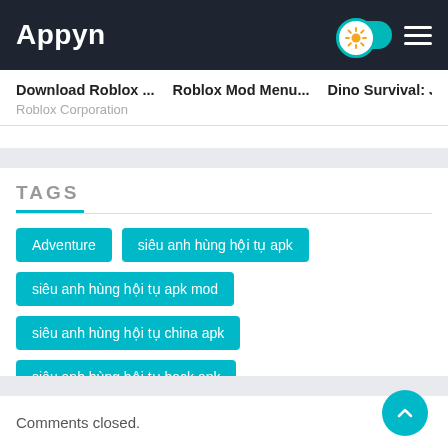Appyn
Download Roblox ...   Roblox Mod Menu...   Dino Survival: Jura...
Roblox Corporation
TAGS
Adventure
siêu anh hùng hội tụ apk
siêu anh hùng hội tụ apk mod
siêu anh hùng hội tụ china apk
siêu anh hùng hội tụ hack apk
tải siêu anh hùng hội tụ apk
tải siêu anh hùng hội tụ hack apk
Comments closed.